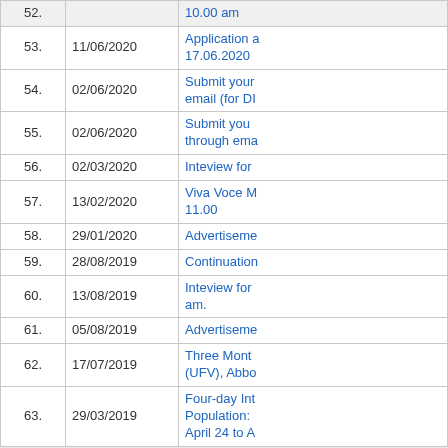| No. | Date | Description |
| --- | --- | --- |
| 52. |  | 10.00 am |
| 53. | 11/06/2020 | Application a... 17.06.2020 |
| 54. | 02/06/2020 | Submit your... email (for DI... |
| 55. | 02/06/2020 | Submit you... through ema... |
| 56. | 02/03/2020 | Inteview for... |
| 57. | 13/02/2020 | Viva Voce M... 11.00 |
| 58. | 29/01/2020 | Advertiseme... |
| 59. | 28/08/2019 | Continuation... |
| 60. | 13/08/2019 | Inteview for... am. |
| 61. | 05/08/2019 | Advertiseme... |
| 62. | 17/07/2019 | Three Mont... (UFV), Abbo... |
| 63. | 29/03/2019 | Four-day Int... Population:... April 24 to A... |